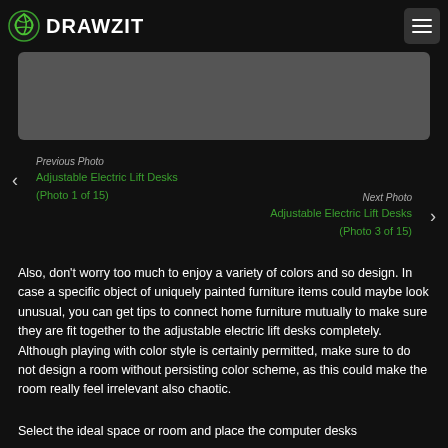DRAWZIT
[Figure (photo): Partially visible photo of adjustable electric lift desks, shown as a gray placeholder area]
Previous Photo
Adjustable Electric Lift Desks (Photo 1 of 15)
Next Photo
Adjustable Electric Lift Desks (Photo 3 of 15)
Also, don't worry too much to enjoy a variety of colors and so design. In case a specific object of uniquely painted furniture items could maybe look unusual, you can get tips to connect home furniture mutually to make sure they are fit together to the adjustable electric lift desks completely. Although playing with color style is certainly permitted, make sure to do not design a room without persisting color scheme, as this could make the room really feel irrelevant also chaotic.
Select the ideal space or room and place the computer desks